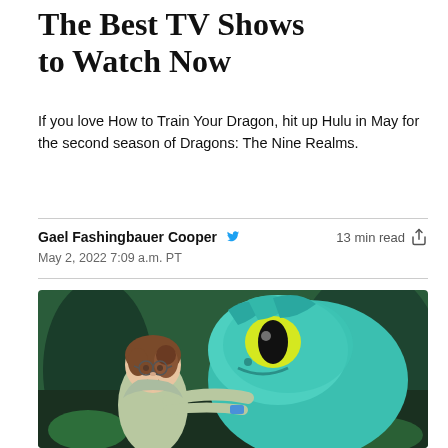The Best TV Shows to Watch Now
If you love How to Train Your Dragon, hit up Hulu in May for the second season of Dragons: The Nine Realms.
Gael Fashingbauer Cooper  13 min read
May 2, 2022 7:09 a.m. PT
[Figure (photo): Animated scene from Dragons: The Nine Realms showing a girl with brown hair and glasses embracing a teal-colored dragon with a large yellow eye, with a forest background.]